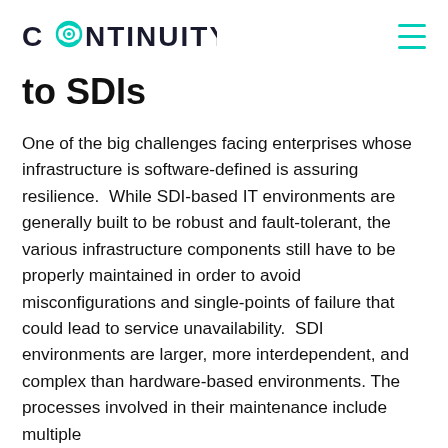CONTINUITY
to SDIs
One of the big challenges facing enterprises whose infrastructure is software-defined is assuring resilience.  While SDI-based IT environments are generally built to be robust and fault-tolerant, the various infrastructure components still have to be properly maintained in order to avoid misconfigurations and single-points of failure that could lead to service unavailability.  SDI environments are larger, more interdependent, and complex than hardware-based environments. The processes involved in their maintenance include multiple